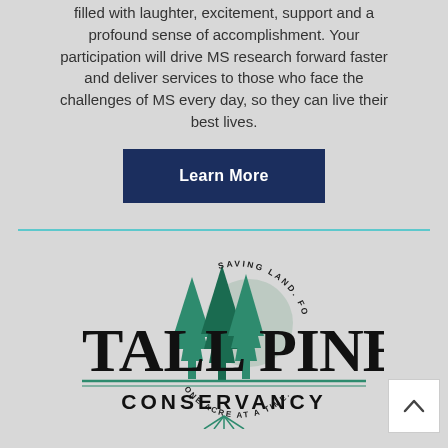filled with laughter, excitement, support and a profound sense of accomplishment. Your participation will drive MS research forward faster and deliver services to those who face the challenges of MS every day, so they can live their best lives.
Learn More
[Figure (logo): Tall Pines Conservancy logo with pine trees and circular text reading 'Saving Land For Tomorrow One Acre At A Time']